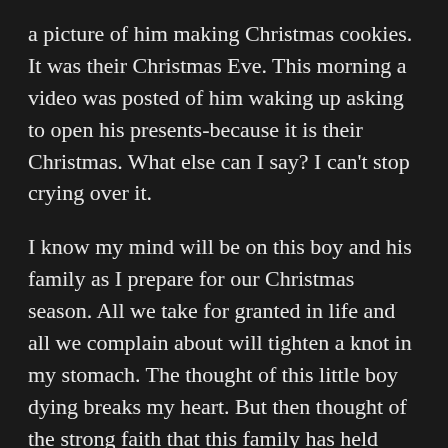a picture of him making Christmas cookies. It was their Christmas Eve. This morning a video was posted of him waking up asking to open his presents-because it is their Christmas. What else can I say? I can't stop crying over it.
I know my mind will be on this boy and his family as I prepare for our Christmas season. All we take for granted in life and all we complain about will tighten a knot in my stomach. The thought of this little boy dying breaks my heart. But then thought of the strong faith that this family has held onto strengthens my own faith. I don't know them...